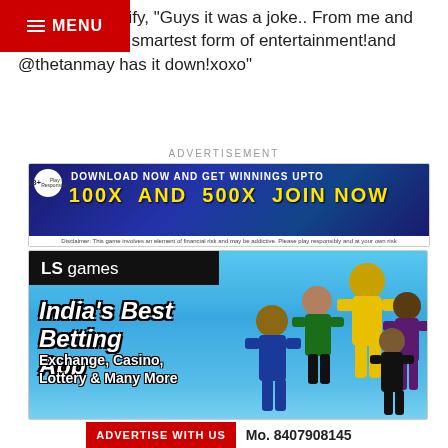tweeted to clarify, 'Guys it was a joke.. From me and Comedy is the smartest form of entertainment!and @thetanmay has it down!xoxo"
ADVERTISEMENT
[Figure (infographic): Advertisement banner: '18+ Play Responsibly. DOWNLOAD NOW AND GET WINNINGS UPTO 100X AND 500X JOIN NOW'. Disclaimer text at bottom.]
[Figure (infographic): LS games advertisement - India's Best Betting App. Exchange, Casino, Lottery & Many More. Cricket players collage image in background.]
ADVERTISE WITH US   Mo. 8407908145